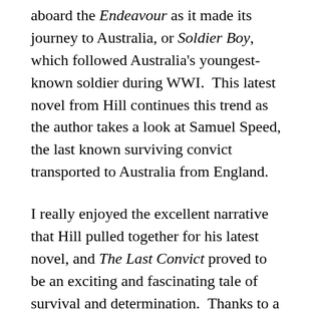aboard the Endeavour as it made its journey to Australia, or Soldier Boy, which followed Australia's youngest-known soldier during WWI.  This latest novel from Hill continues this trend as the author takes a look at Samuel Speed, the last known surviving convict transported to Australia from England.
I really enjoyed the excellent narrative that Hill pulled together for his latest novel, and The Last Convict proved to be an exciting and fascinating tale of survival and determination.  Thanks to a trove of intriguing historical information and articles (all of which is either provided or referenced at the end of the novel), Hill provides the reader with a detailed and compelling bibliographic tale of Samuel's life.  The story is set around a life intertwining that Samuel Speed had with